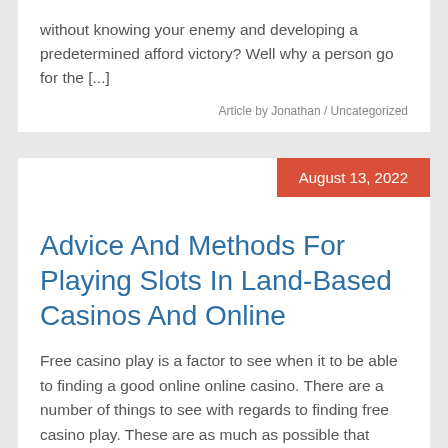without knowing your enemy and developing a predetermined afford victory? Well why a person go for the [...]
Article by Jonathan / Uncategorized
August 13, 2022
Advice And Methods For Playing Slots In Land-Based Casinos And Online
Free casino play is a factor to see when it to be able to finding a good online online casino. There are a number of things to see with regards to finding free casino play. These are as much as possible that show just how